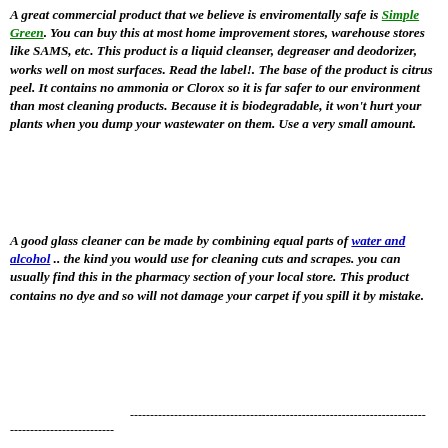A great commercial product that we believe is enviromentally safe is Simple Green. You can buy this at most home improvement stores, warehouse stores like SAMS, etc. This product is a liquid cleanser, degreaser and deodorizer, works well on most surfaces. Read the label!. The base of the product is citrus peel. It contains no ammonia or Clorox so it is far safer to our environment than most cleaning products. Because it is biodegradable, it won't hurt your plants when you dump your wastewater on them. Use a very small amount.
A good glass cleaner can be made by combining equal parts of water and alcohol .. the kind you would use for cleaning cuts and scrapes. you can usually find this in the pharmacy section of your local store. This product contains no dye and so will not damage your carpet if you spill it by mistake.
-------------------------------------------------------------------------- --------------------------